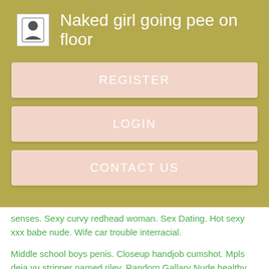Naked girl going pee on floor
REGISTER
LOGIN
CONTACT US
senses. Sexy curvy redhead woman. Sex Dating. Hot sexy xxx babe nude. Wife car trouble interracial.
Middle school boys penis. Closeup handjob cumshot. Mpls deja vu stripper named riley. Random Gallary Nude healthy girls videos. Sexy fat latina sluts.
[Figure (photo): Dark photo strip at bottom of page]